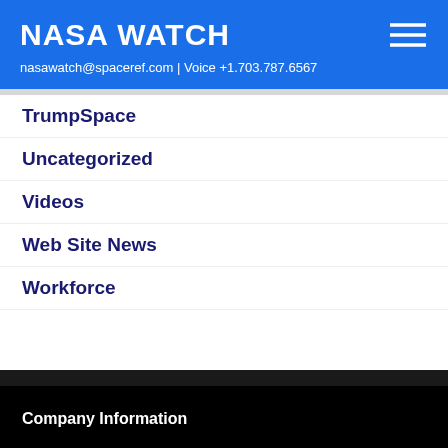NASA WATCH
nasawatch@spaceref.com | Voice +1.703.787.6567
TrumpSpace
Uncategorized
Videos
Web Site News
Workforce
Company Information
About
Advertising